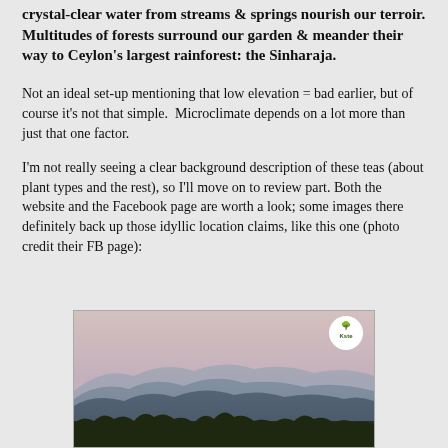crystal-clear water from streams & springs nourish our terroir. Multitudes of forests surround our garden & meander their way to Ceylon's largest rainforest: the Sinharaja.
Not an ideal set-up mentioning that low elevation = bad earlier, but of course it's not that simple.  Microclimate depends on a lot more than just that one factor.
I'm not really seeing a clear background description of these teas (about plant types and the rest), so I'll move on to review part. Both the website and the Facebook page are worth a look; some images there definitely back up those idyllic location claims, like this one (photo credit their FB page):
[Figure (photo): Landscape photo showing misty blue-grey mountains with layers of forest ridges fading into the distance, dark trees in the foreground, and a pale pink-grey sky. A small circular logo is visible in the upper right corner.]